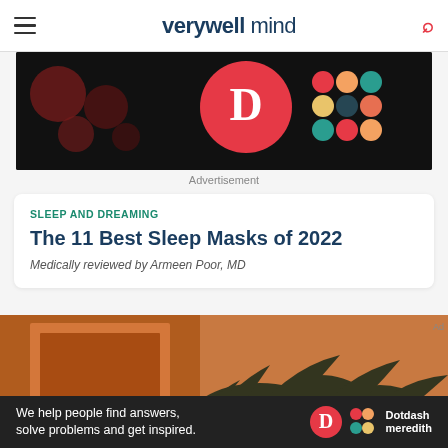verywell mind
[Figure (photo): Black advertisement banner with colorful circular brand logos on dark background]
Advertisement
SLEEP AND DREAMING
The 11 Best Sleep Masks of 2022
Medically reviewed by Armeen Poor, MD
[Figure (photo): Interior room with warm orange/wood wall art and tropical plant in foreground]
[Figure (photo): Dotdash Meredith bottom advertisement banner: We help people find answers, solve problems and get inspired.]